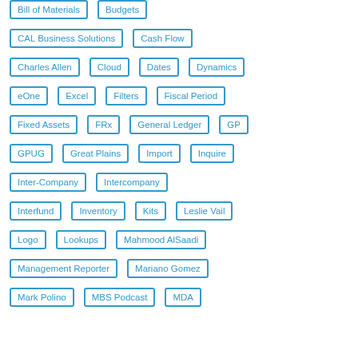Bill of Materials
Budgets
CAL Business Solutions
Cash Flow
Charles Allen
Cloud
Dates
Dynamics
eOne
Excel
Filters
Fiscal Period
Fixed Assets
FRx
General Ledger
GP
GPUG
Great Plains
Import
Inquire
Inter-Company
Intercompany
Interfund
Inventory
Kits
Leslie Vail
Logo
Lookups
Mahmood AlSaadi
Management Reporter
Mariano Gomez
Mark Polino
MBS Podcast
MDA